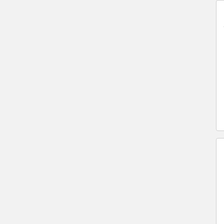IT6100B Series
Details
[Figure (photo): Photo of IT6132B bench power supply instrument with digital display showing voltage and current readings]
IT6132B (150W, 30V/5A, Output Resolution 1mV/0.1mA, 1-Ch High Speed and High A...